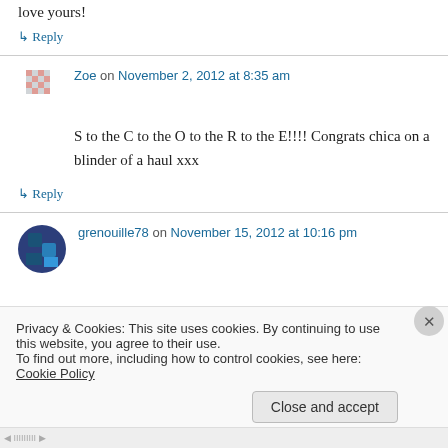love yours!
↳ Reply
Zoe on November 2, 2012 at 8:35 am
S to the C to the O to the R to the E!!!! Congrats chica on a blinder of a haul xxx
↳ Reply
grenouille78 on November 15, 2012 at 10:16 pm
Privacy & Cookies: This site uses cookies. By continuing to use this website, you agree to their use. To find out more, including how to control cookies, see here: Cookie Policy
Close and accept